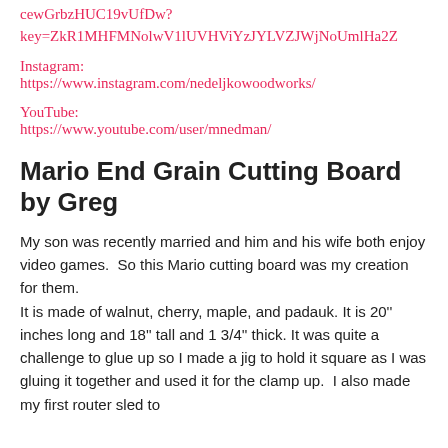cewGrbzHUC19vUfDw?
key=ZkR1MHFMNolwV1lUVHViYzJYLVZJWjNoUmlHa2Z
Instagram:
https://www.instagram.com/nedeljkowoodworks/
YouTube:
https://www.youtube.com/user/mnedman/
Mario End Grain Cutting Board by Greg
My son was recently married and him and his wife both enjoy video games.  So this Mario cutting board was my creation for them.
It is made of walnut, cherry, maple, and padauk. It is 20'' inches long and 18'' tall and 1 3/4'' thick. It was quite a challenge to glue up so I made a jig to hold it square as I was gluing it together and used it for the clamp up.  I also made my first router sled to